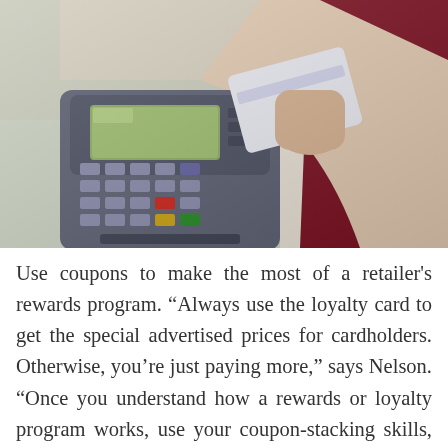[Figure (photo): A cashier in a dark red apron holding a payment card near a point-of-sale credit card terminal. The terminal has a keypad with colorful buttons and a display screen. Blurred store background.]
Use coupons to make the most of a retailer's rewards program. “Always use the loyalty card to get the special advertised prices for cardholders. Otherwise, you’re just paying more,” says Nelson. “Once you understand how a rewards or loyalty program works, use your coupon-stacking skills, taking into account many stores will also give you